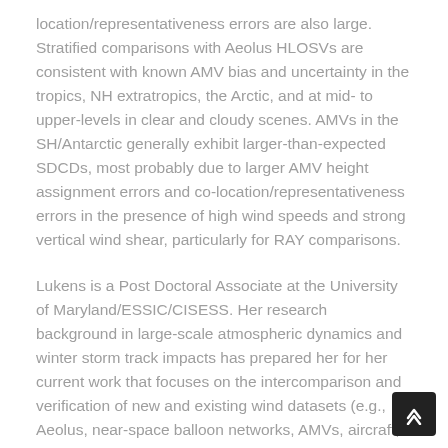location/representativeness errors are also large. Stratified comparisons with Aeolus HLOSVs are consistent with known AMV bias and uncertainty in the tropics, NH extratropics, the Arctic, and at mid- to upper-levels in clear and cloudy scenes. AMVs in the SH/Antarctic generally exhibit larger-than-expected SDCDs, most probably due to larger AMV height assignment errors and co-location/representativeness errors in the presence of high wind speeds and strong vertical wind shear, particularly for RAY comparisons.
Lukens is a Post Doctoral Associate at the University of Maryland/ESSIC/CISESS. Her research background in large-scale atmospheric dynamics and winter storm track impacts has prepared her for her current work that focuses on the intercomparison and verification of new and existing wind datasets (e.g., Aeolus, near-space balloon networks, AMVs, aircraft, rawinsondes) and